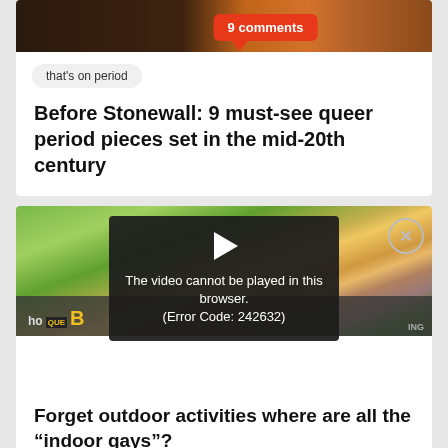[Figure (screenshot): Top of article card showing a dark image strip with a red speech bubble saying '9 comments']
that's on period
Before Stonewall: 9 must-see queer period pieces set in the mid-20th century
[Figure (photo): Photo of two smiling men, one with short dark hair, appearing happy together indoors near a window]
[Figure (screenshot): Video error overlay with play icon and text: The video cannot be played in this browser. (Error Code: 242632), with an X close button]
ho QUE B ING
Forget outdoor activities where are all the “indoor gays”?